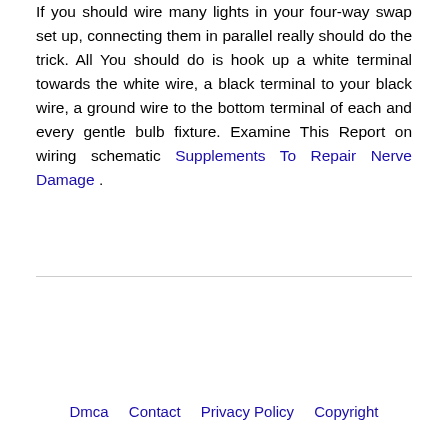If you should wire many lights in your four-way swap set up, connecting them in parallel really should do the trick. All You should do is hook up a white terminal towards the white wire, a black terminal to your black wire, a ground wire to the bottom terminal of each and every gentle bulb fixture. Examine This Report on wiring schematic Supplements To Repair Nerve Damage .
Dmca   Contact   Privacy Policy   Copyright